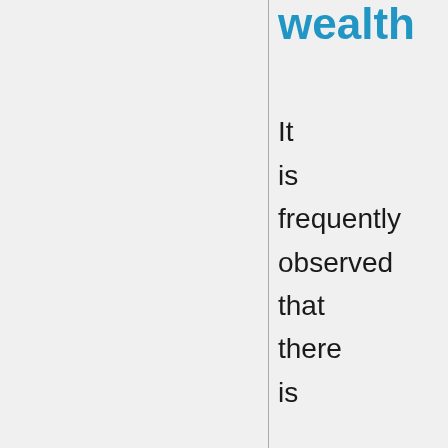wealth
It is frequently observed that there is a distinct correlation between latitude and the